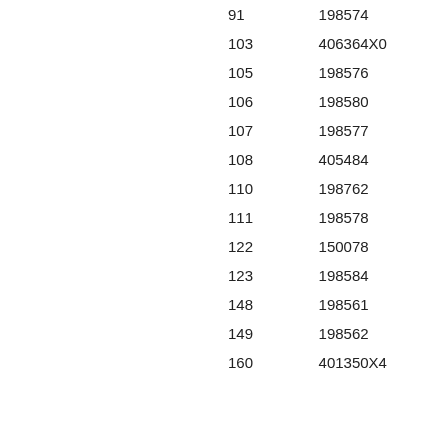| 91 | 198574 |
| 103 | 406364X0 |
| 105 | 198576 |
| 106 | 198580 |
| 107 | 198577 |
| 108 | 405484 |
| 110 | 198762 |
| 111 | 198578 |
| 122 | 150078 |
| 123 | 198584 |
| 148 | 198561 |
| 149 | 198562 |
| 160 | 401350X4 |